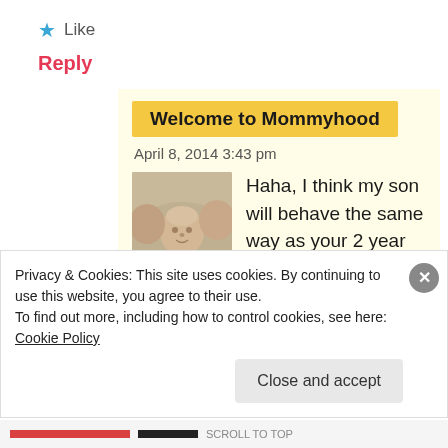★ Like
Reply
Welcome to Mommyhood
April 8, 2014 3:43 pm
[Figure (photo): Black and white photo of a baby being kissed on both cheeks by two people]
Haha, I think my son will behave the same way as your 2 year old! We had tons of rain this year, too. I imagine Dutch and Irish weather is
Privacy & Cookies: This site uses cookies. By continuing to use this website, you agree to their use.
To find out more, including how to control cookies, see here: Cookie Policy
Close and accept